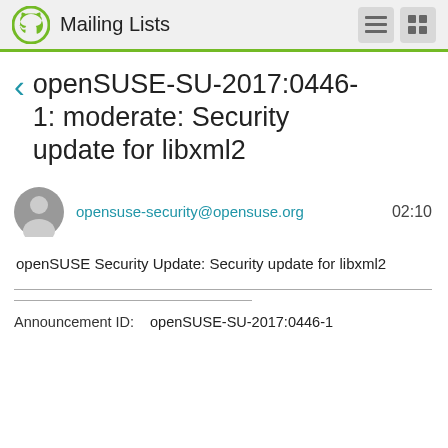Mailing Lists
openSUSE-SU-2017:0446-1: moderate: Security update for libxml2
opensuse-security@opensuse.org   02:10
openSUSE Security Update: Security update for libxml2
Announcement ID:    openSUSE-SU-2017:0446-1